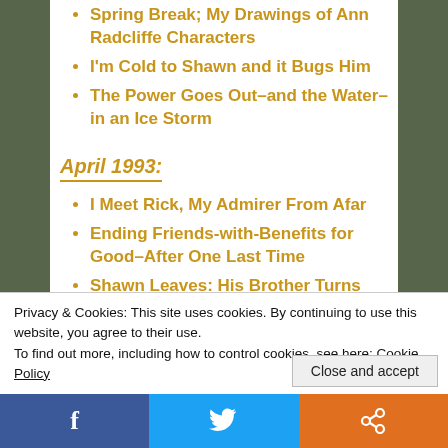Spring Break; My Drawings of Ann Radcliffe Characters
I'm Cold to Shawn and it Bugs Him
The Power Goes Out–and the Water–in an Ice Storm
April 1993:
I Meet Rick, My Admirer From Afar
Ending Friends-with-Benefits for Good–After One Last Time
Shawn Leaves: His Brother Turns Deathly Ill
Privacy & Cookies: This site uses cookies. By continuing to use this website, you agree to their use. To find out more, including how to control cookies, see here: Cookie Policy
Close and accept